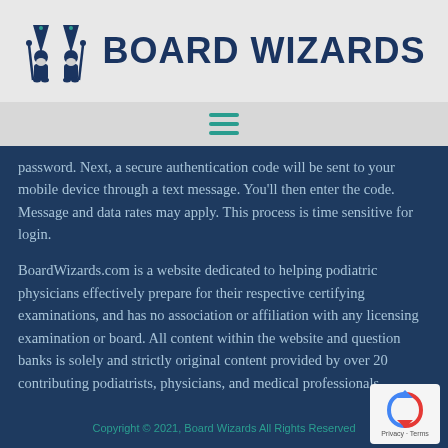[Figure (logo): Board Wizards logo with two wizard gnome figures in dark navy blue and bold text 'BOARD WIZARDS']
[Figure (other): Hamburger navigation menu icon with three teal horizontal lines]
password. Next, a secure authentication code will be sent to your mobile device through a text message. You'll then enter the code. Message and data rates may apply. This process is time sensitive for login.
BoardWizards.com is a website dedicated to helping podiatric physicians effectively prepare for their respective certifying examinations, and has no association or affiliation with any licensing examination or board. All content within the website and question banks is solely and strictly original content provided by over 20 contributing podiatrists, physicians, and medical professionals.
Copyright © 2021, Board Wizards All Rights Reserved